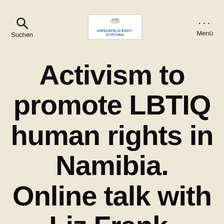Suchen | HIRSCHFELD-EDDY-STIFTUNG | Menü
Activism to promote LBTIQ human rights in Namibia. Online talk with Liz Frank. Windhoek.